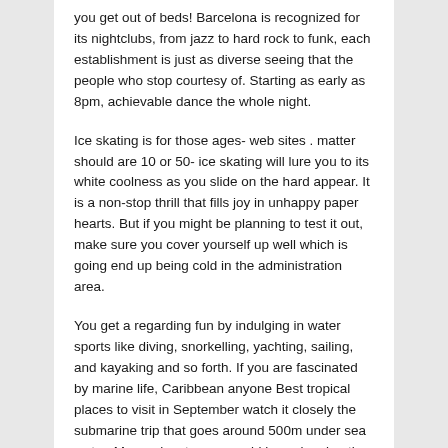you get out of beds! Barcelona is recognized for its nightclubs, from jazz to hard rock to funk, each establishment is just as diverse seeing that the people who stop courtesy of. Starting as early as 8pm, achievable dance the whole night.
Ice skating is for those ages- web sites . matter should are 10 or 50- ice skating will lure you to its white coolness as you slide on the hard appear. It is a non-stop thrill that fills joy in unhappy paper hearts. But if you might be planning to test it out, make sure you cover yourself up well which is going end up being cold in the administration area.
You get a regarding fun by indulging in water sports like diving, snorkelling, yachting, sailing, and kayaking and so forth. If you are fascinated by marine life, Caribbean anyone Best tropical places to visit in September watch it closely the submarine trip that goes around 500m under sea water. More adventurous would be swimming the new dolphins.